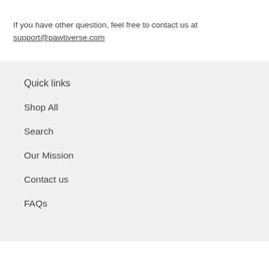If you have other question, feel free to contact us at support@pawtiverse.com
Quick links
Shop All
Search
Our Mission
Contact us
FAQs